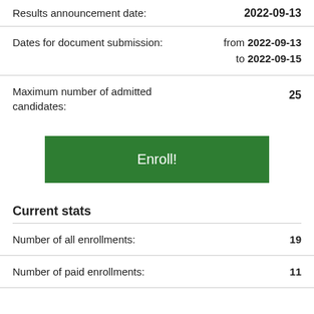| Results announcement date: | 2022-09-13 |
| Dates for document submission: | from 2022-09-13 to 2022-09-15 |
| Maximum number of admitted candidates: | 25 |
Enroll!
Current stats
| Number of all enrollments: | 19 |
| Number of paid enrollments: | 11 |